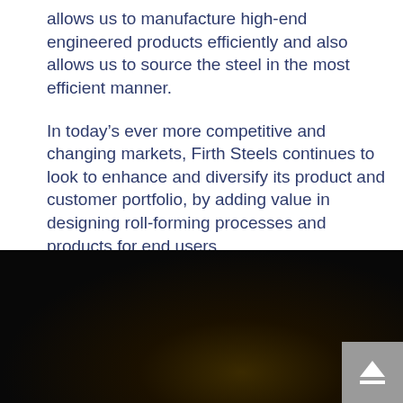allows us to manufacture high-end engineered products efficiently and also allows us to source the steel in the most efficient manner.
In today’s ever more competitive and changing markets, Firth Steels continues to look to enhance and diversify its product and customer portfolio, by adding value in designing roll-forming processes and products for end users.
[Figure (photo): Dark photograph, likely of industrial steel manufacturing equipment or process, with a warm amber/yellow glow visible in the lower center area of the image.]